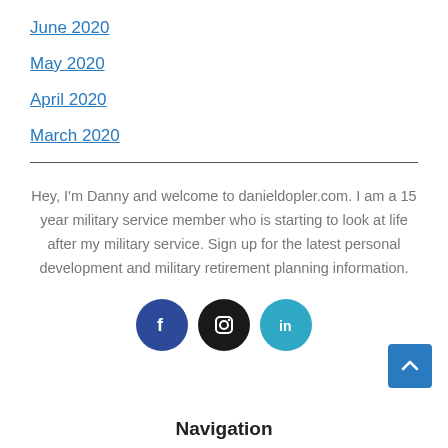June 2020
May 2020
April 2020
March 2020
Hey, I'm Danny and welcome to danieldopler.com. I am a 15 year military service member who is starting to look at life after my military service. Sign up for the latest personal development and military retirement planning information.
[Figure (infographic): Three social media icons: Facebook (dark blue circle with f), Instagram (black circle with camera icon), LinkedIn (teal circle with in)]
Navigation